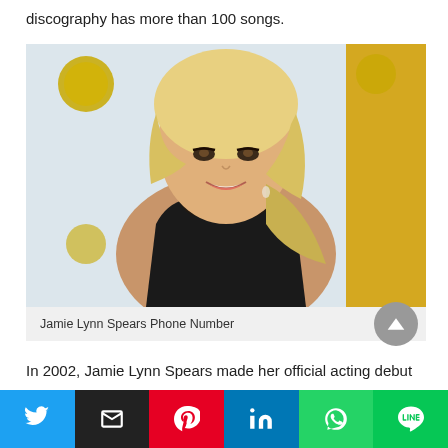discography has more than 100 songs.
[Figure (photo): Photo of Jamie Lynn Spears at an event, wearing a black lace dress, blonde hair, smiling at camera. Background shows event backdrop.]
Jamie Lynn Spears Phone Number
In 2002, Jamie Lynn Spears made her official acting debut